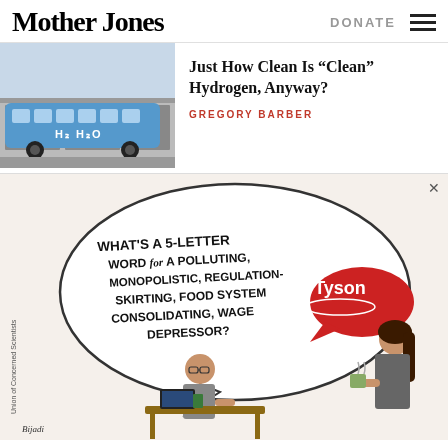Mother Jones | DONATE
[Figure (photo): Hydrogen fuel cell bus with H2O branding parked at a facility]
Just How Clean Is “Clean” Hydrogen, Anyway?
GREGORY BARBER
[Figure (illustration): Cartoon advertisement from Union of Concerned Scientists showing a crossword puzzle solver asking 'What's a 5-letter word for a polluting, monopolistic, regulation-skirting, food system consolidating, wage depressor?' with a Tyson speech bubble, illustrated by Bijadi]